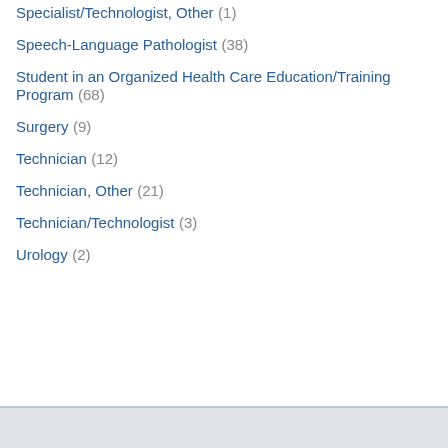Specialist/Technologist, Other (1)
Speech-Language Pathologist (38)
Student in an Organized Health Care Education/Training Program (68)
Surgery (9)
Technician (12)
Technician, Other (21)
Technician/Technologist (3)
Urology (2)